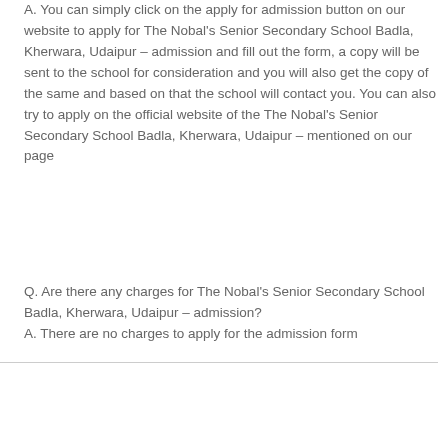A. You can simply click on the apply for admission button on our website to apply for The Nobal's Senior Secondary School Badla, Kherwara, Udaipur – admission and fill out the form, a copy will be sent to the school for consideration and you will also get the copy of the same and based on that the school will contact you. You can also try to apply on the official website of the The Nobal's Senior Secondary School Badla, Kherwara, Udaipur – mentioned on our page
Q. Are there any charges for The Nobal's Senior Secondary School Badla, Kherwara, Udaipur – admission? A. There are no charges to apply for the admission form